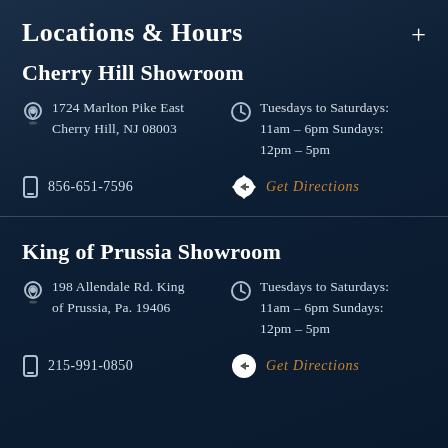Locations & Hours
Cherry Hill Showroom
1724 Marlton Pike East Cherry Hill, NJ 08003
Tuesdays to Saturdays: 11am – 6pm Sundays: 12pm – 5pm
856-651-7596
Get Directions
King of Prussia Showroom
198 Allendale Rd. King of Prussia, Pa. 19406
Tuesdays to Saturdays: 11am – 6pm Sundays: 12pm – 5pm
215-991-0850
Get Directions